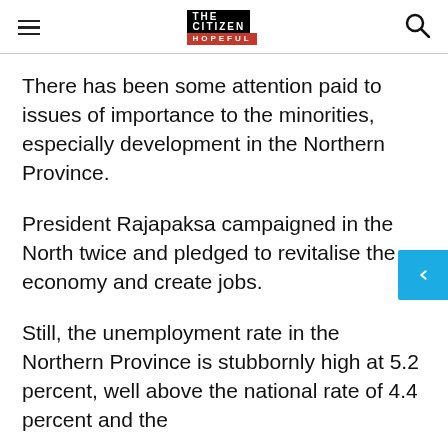THE CITIZEN IS HOPEFUL
There has been some attention paid to issues of importance to the minorities, especially development in the Northern Province.
President Rajapaksa campaigned in the North twice and pledged to revitalise the economy and create jobs.
Still, the unemployment rate in the Northern Province is stubbornly high at 5.2 percent, well above the national rate of 4.4 percent and the